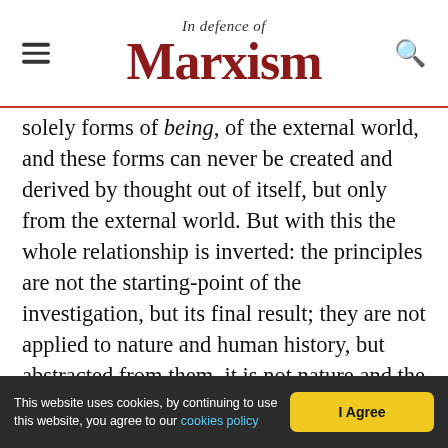In Defence of Marxism
solely forms of being, of the external world, and these forms can never be created and derived by thought out of itself, but only from the external world. But with this the whole relationship is inverted: the principles are not the starting-point of the investigation, but its final result; they are not applied to nature and human history, but abstracted from them, it is not nature and the realm of man which conform to these principles, but the principles are only valid in so far as they are in conformity with nature and history. That is the only materialist conception of the matter, and Herr
This website uses cookies, by continuing to use this website, you agree to our cookies policy  I Agree